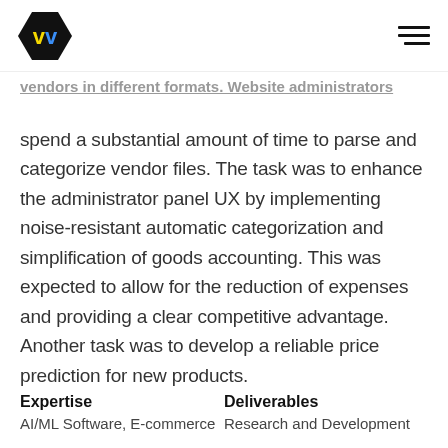W logo and hamburger menu
vendors in different formats. Website administrators spend a substantial amount of time to parse and categorize vendor files. The task was to enhance the administrator panel UX by implementing noise-resistant automatic categorization and simplification of goods accounting. This was expected to allow for the reduction of expenses and providing a clear competitive advantage. Another task was to develop a reliable price prediction for new products.
Expertise
AI/ML Software, E-commerce
Deliverables
Research and Development